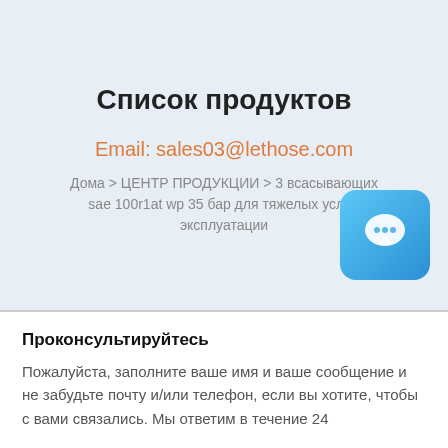Список продуктов
Email: sales03@lethose.com
Дома > ЦЕНТР ПРОДУКЦИИ > 3 всасывающих sae 100r1at wp 35 бар для тяжелых условий эксплуатации
[Figure (illustration): Blue chat/message popup icon with close X button]
Проконсультируйтесь
Пожалуйста, заполните ваше имя и ваше сообщение и не забудьте почту и/или телефон, если вы хотите, чтобы с вами связались. Мы ответим в течение 24